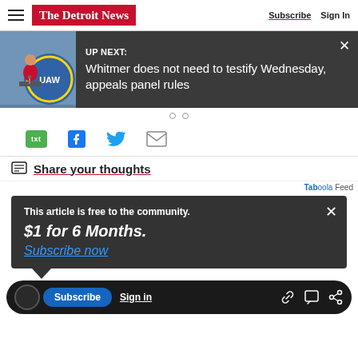The Detroit News  Subscribe  Sign In
[Figure (screenshot): UP NEXT: Whitmer does not need to testify Wednesday, appeals panel rules — news banner with thumbnail image of woman at UAW podium]
[Figure (infographic): Social sharing icons: txt (SMS), Facebook, Twitter, Email]
Share your thoughts
Taboola Feed
This article is free to the community. $1 for 6 Months. Subscribe now
Subscribe  Sign in